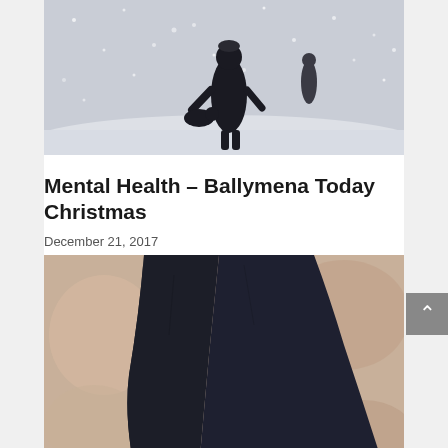[Figure (photo): Two people and a dog walking away from the camera in a snowy winter landscape, heavy snowfall visible]
Mental Health – Ballymena Today Christmas
December 21, 2017
[Figure (photo): Close-up of a person's legs in dark athletic trousers and sneakers, outdoors with blurred autumnal background]